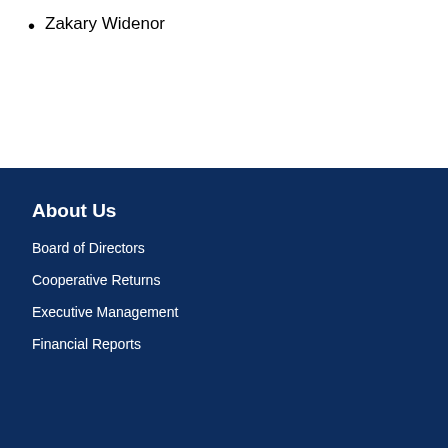Zakary Widenor
About Us
Board of Directors
Cooperative Returns
Executive Management
Financial Reports